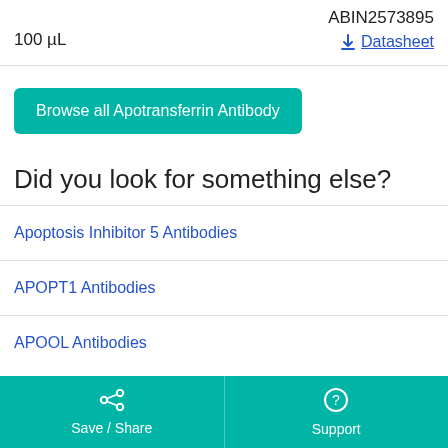|  | ABIN2573895 |
| --- | --- |
| 100 µL | ↓ Datasheet |
Browse all Apotransferrin Antibody
Did you look for something else?
Apoptosis Inhibitor 5 Antibodies
APOPT1 Antibodies
APOOL Antibodies
Save / Share   Support